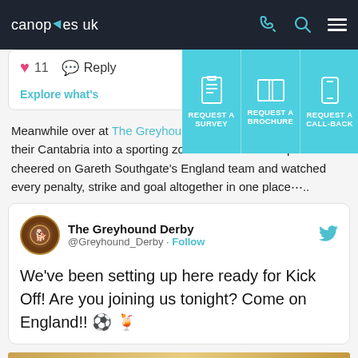canopies uk
[Figure (screenshot): Navigation dropdown menu with three teal tiles: REQUEST A SURVEY, REQUEST A BROCHURE, REQUEST A CALL-BACK with icons]
♥ 11  Reply  Explore what's…
Meanwhile over at The Greyhound in Derby, they transformed their Cantabria into a sporting zone where World Cup fans cheered on Gareth Southgate's England team and watched every penalty, strike and goal altogether in one place⋯..
The Greyhound Derby @Greyhound_Derby · Follow
We've been setting up here ready for Kick Off! Are you joining us tonight? Come on England!! ⚽ 🍹
[Figure (photo): Bottom partial image strip, appears to show a table or surface]